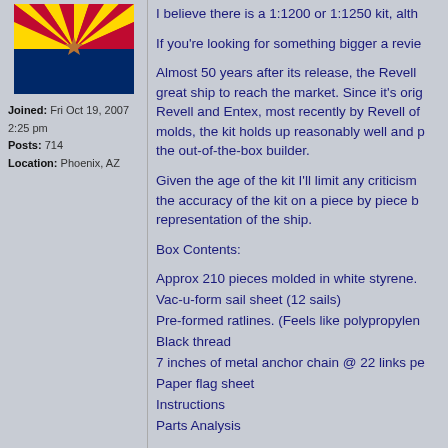[Figure (illustration): Arizona state flag image showing red and yellow sunburst rays on top half and blue on bottom half with a copper star in center]
Joined: Fri Oct 19, 2007 2:25 pm
Posts: 714
Location: Phoenix, AZ
I believe there is a 1:1200 or 1:1250 kit, alth...
If you're looking for something bigger a revie...
Almost 50 years after its release, the Revell ... great ship to reach the market. Since it's orig... Revell and Entex, most recently by Revell of... molds, the kit holds up reasonably well and p... the out-of-the-box builder.
Given the age of the kit I'll limit any criticism ... the accuracy of the kit on a piece by piece b... representation of the ship.
Box Contents:
Approx 210 pieces molded in white styrene.
Vac-u-form sail sheet (12 sails)
Pre-formed ratlines. (Feels like polypropylen...
Black thread
7 inches of metal anchor chain @ 22 links pe...
Paper flag sheet
Instructions
Parts Analysis